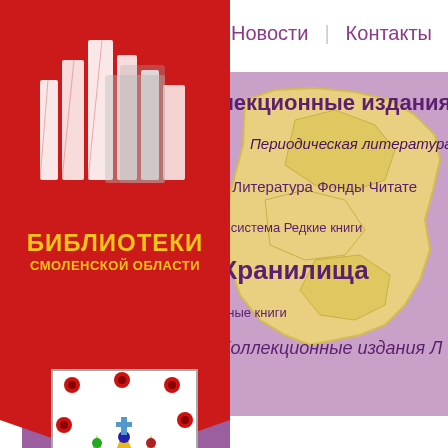[Figure (screenshot): Website screenshot for Libraries of Smolensk Region. Features a red ribbon/bookmark with books icon and text 'BIBLIOTEKI SMOLENSKOY OBLASTI' in gold, navigation links 'Novosti' and 'Kontakty' in purple, a purple background with a yellow map of Smolensk region, tag cloud words in Russian related to library collections, and the coat of arms of Smolensk at the bottom left.]
Новости | Контакты
БИБЛИОТЕКИ СМОЛЕНСКОЙ ОБЛАСТИ
лекционные издания
Периодическая литература
я Литература Фонды Читате
я система Редкие книги
рные книги Хранилища
Коллекционные издания Л